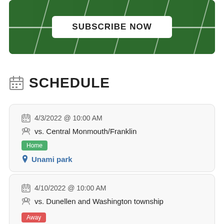[Figure (photo): Football field aerial view with white yard lines and green grass, containing a 'SUBSCRIBE NOW' button overlay]
SCHEDULE
4/3/2022 @ 10:00 AM
vs. Central Monmouth/Franklin
Home
Unami park
4/10/2022 @ 10:00 AM
vs. Dunellen and Washington township